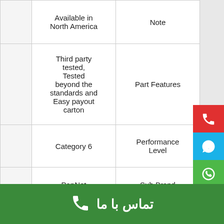|  | Available in North America / Third party tested... | Note / Part Features / Performance Level / Sub Brand / RoHS Compliancy Status |
| --- | --- | --- |
|  | Available in North America | Note |
|  | Third party tested, Tested beyond the standards and Easy payout carton | Part Features |
|  | Category 6 | Performance Level |
|  | PanNet | Sub Brand |
|  | Compliant | RoHS Compliancy Status |
تماس با ما